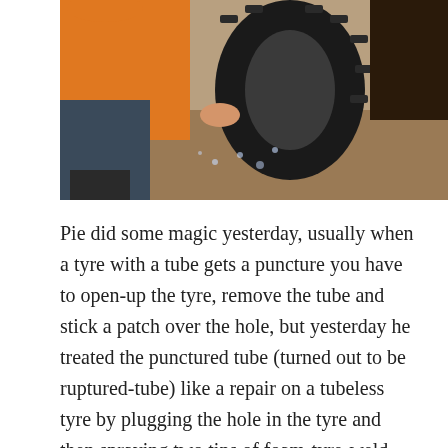[Figure (photo): A person in an orange shirt and dark pants kneeling beside a large off-road motorcycle tyre, appearing to work on it. The setting shows muddy ground with water droplets visible.]
Pie did some magic yesterday, usually when a tyre with a tube gets a puncture you have to open-up the tyre, remove the tube and stick a patch over the hole, but yesterday he treated the punctured tube (turned out to be ruptured-tube) like a repair on a tubeless tyre by plugging the hole in the tyre and then spraying two tins of foam-tyre-weld into the tube, this caused the foam to leak out from all the spokes and sides of the tire, but he pumped it to 400 Bar and then they rode the bike to the